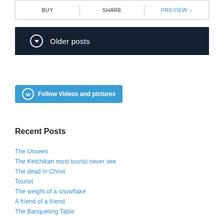BUY | SHARE | PREVIEW
Older posts
[Figure (other): Follow Videos and pictures button with WordPress logo]
Recent Posts
The Unseen
The Ketchikan most tourist never see
The dead in Christ
Tourist
The weight of a snowflake
A friend of a friend
The Banqueting Table